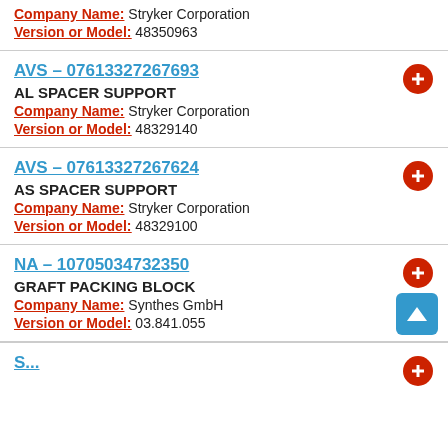Company Name: Stryker Corporation
Version or Model: 48350963
AVS - 07613327267693
AL SPACER SUPPORT
Company Name: Stryker Corporation
Version or Model: 48329140
AVS - 07613327267624
AS SPACER SUPPORT
Company Name: Stryker Corporation
Version or Model: 48329100
NA - 10705034732350
GRAFT PACKING BLOCK
Company Name: Synthes GmbH
Version or Model: 03.841.055
S... (partial entry)